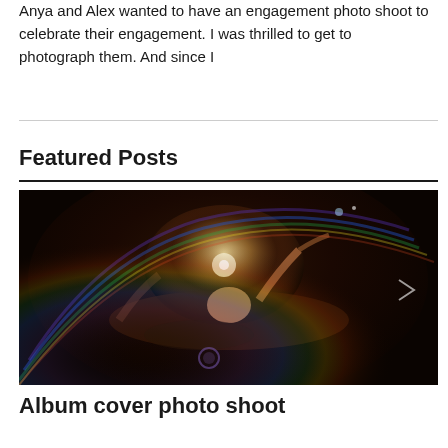Anya and Alex wanted to have an engagement photo shoot to celebrate their engagement. I was thrilled to get to photograph them. And since I
Featured Posts
[Figure (photo): Artistic underwater or low-light photo of a person floating or reclining, with dramatic light flare and rainbow lens effect, dark moody tones]
Album cover photo shoot